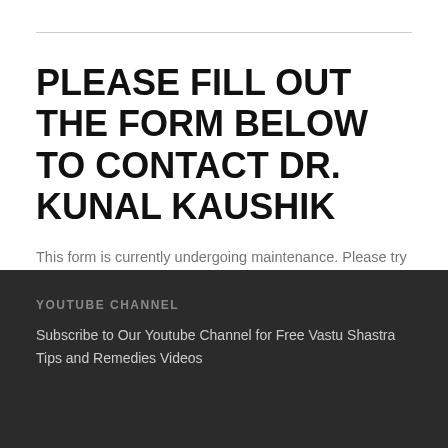PLEASE FILL OUT THE FORM BELOW TO CONTACT DR. KUNAL KAUSHIK
This form is currently undergoing maintenance. Please try again later.
YOUTUBE CHANNEL
Subscribe to Our Youtube Channel for Free Vastu Shastra Tips and Remedies Videos